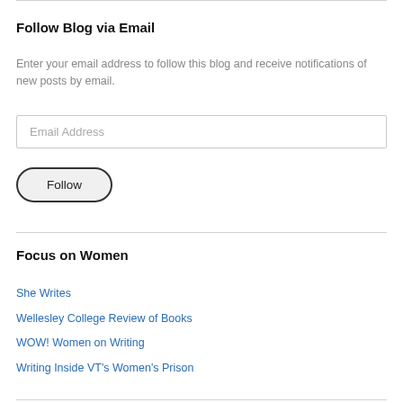Follow Blog via Email
Enter your email address to follow this blog and receive notifications of new posts by email.
Email Address
Follow
Focus on Women
She Writes
Wellesley College Review of Books
WOW! Women on Writing
Writing Inside VT's Women's Prison